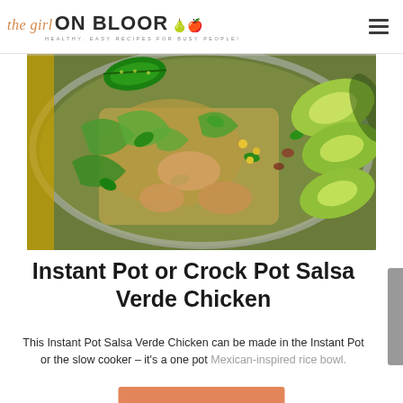the girl ON BLOOR - HEALTHY, EASY RECIPES FOR BUSY PEOPLE!
[Figure (photo): Overhead close-up photo of a bowl of Salsa Verde Chicken rice bowl with avocado slices, green peppers, cilantro, corn, and beans.]
Instant Pot or Crock Pot Salsa Verde Chicken
This Instant Pot Salsa Verde Chicken can be made in the Instant Pot or the slow cooker – it's a one pot Mexican-inspired rice bowl.